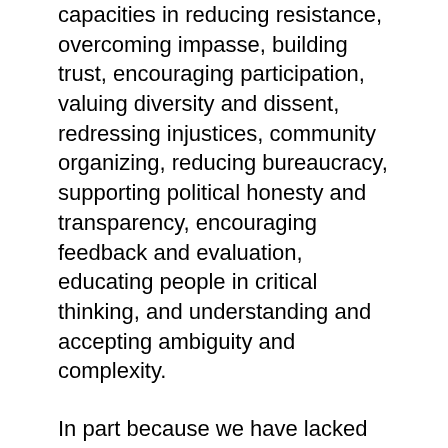capacities in reducing resistance, overcoming impasse, building trust, encouraging participation, valuing diversity and dissent, redressing injustices, community organizing, reducing bureaucracy, supporting political honesty and transparency, encouraging feedback and evaluation, educating people in critical thinking, and understanding and accepting ambiguity and complexity.
In part because we have lacked these skills, democracy has been constrained and constricted, as Alex Cary describes in the second epigraph listed above, through the use of power- and rights-based adversarial processes, which include not just crude forms of political propaganda, but vicious campaign advertising, soft money bribery, and the corruption that is encouraged by lobbying and campaign contributions. These combine to reduce politics as a whole to hostile power contests between elected representatives funded and controlled by wealthy contributors. It is as true